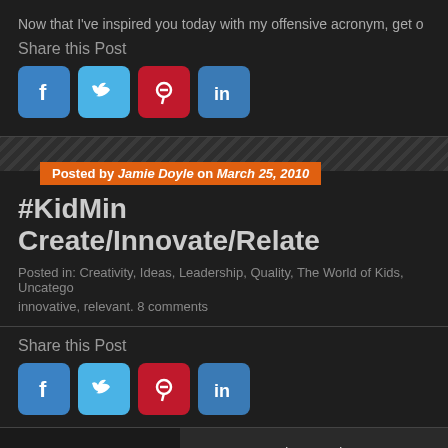Now that I've inspired you today with my offensive acronym, get o
Share this Post
[Figure (other): Social share buttons: Facebook, Twitter, Pinterest, LinkedIn (top set)]
Posted by Jamie Doyle on March 25, 2010
#KidMin Create/Innovate/Relate
Posted in: Creativity, Ideas, Leadership, Quality, The World of Kids, Uncatego
innovative, relevant. 8 comments
Share this Post
[Figure (other): Social share buttons: Facebook, Twitter, Pinterest, LinkedIn (bottom set)]
How can you be creative, fun?  We'd better answer